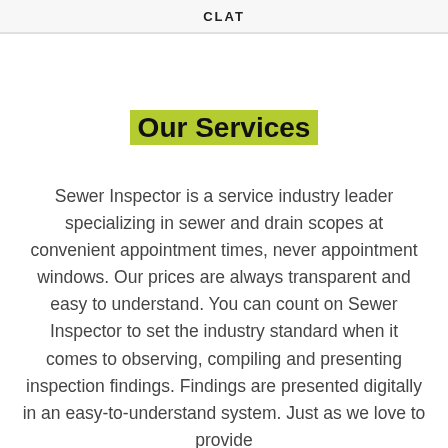CLAT
Our Services
Sewer Inspector is a service industry leader specializing in sewer and drain scopes at convenient appointment times, never appointment windows. Our prices are always transparent and easy to understand. You can count on Sewer Inspector to set the industry standard when it comes to observing, compiling and presenting inspection findings. Findings are presented digitally in an easy-to-understand system. Just as we love to provide